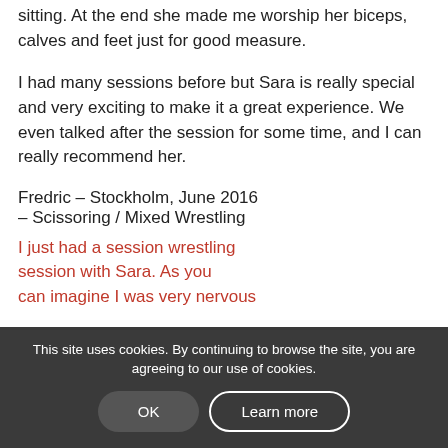sitting. At the end she made me worship her biceps, calves and feet just for good measure.
I had many sessions before but Sara is really special and very exciting to make it a great experience. We even talked after the session for some time, and I can really recommend her.
Fredric – Stockholm, June 2016 – Scissoring / Mixed Wrestling
I just had a session wrestling session with Sara. As you can imagine I was very nervous
This site uses cookies. By continuing to browse the site, you are agreeing to our use of cookies.